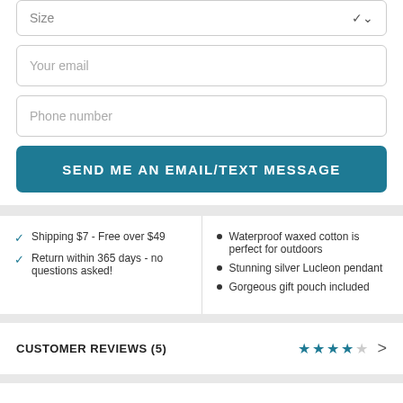Size
Your email
Phone number
SEND ME AN EMAIL/TEXT MESSAGE
Shipping $7 - Free over $49
Return within 365 days - no questions asked!
Waterproof waxed cotton is perfect for outdoors
Stunning silver Lucleon pendant
Gorgeous gift pouch included
CUSTOMER REVIEWS (5)
DESCRIPTION